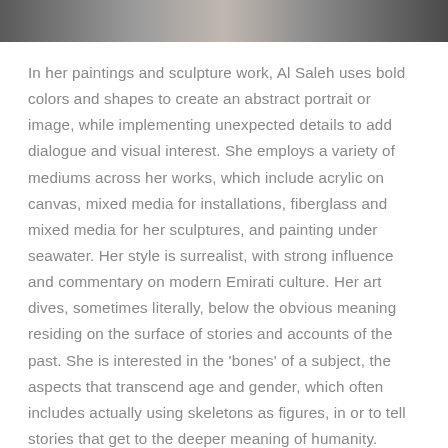[Figure (photo): Partial photograph cropped at top of page, showing a person or scene, mostly obscured.]
In her paintings and sculpture work, Al Saleh uses bold colors and shapes to create an abstract portrait or image, while implementing unexpected details to add dialogue and visual interest. She employs a variety of mediums across her works, which include acrylic on canvas, mixed media for installations, fiberglass and mixed media for her sculptures, and painting under seawater. Her style is surrealist, with strong influence and commentary on modern Emirati culture. Her art dives, sometimes literally, below the obvious meaning residing on the surface of stories and accounts of the past. She is interested in the 'bones' of a subject, the aspects that transcend age and gender, which often includes actually using skeletons as figures, in or to tell stories that get to the deeper meaning of humanity. Through her work, Al Saleh brings viewers into a discussion about the importance of Emirati history in order to challenge how we think about our history,